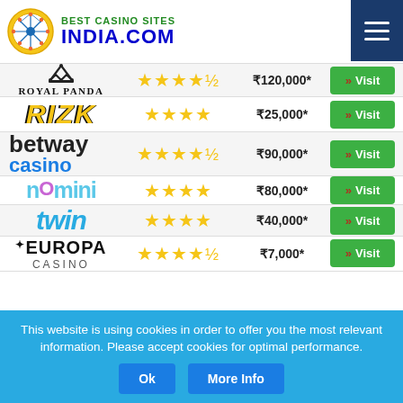Best Casino Sites India.com
| Casino | Rating | Bonus | Action |
| --- | --- | --- | --- |
| Royal Panda | ★★★★½ | ₹120,000* | Visit |
| Rizk | ★★★★ | ₹25,000* | Visit |
| betway casino | ★★★★½ | ₹90,000* | Visit |
| nomini | ★★★★ | ₹80,000* | Visit |
| twin | ★★★★ | ₹40,000* | Visit |
| Europa Casino | ★★★★½ | ₹7,000* | Visit |
This website is using cookies in order to offer you the most relevant information. Please accept cookies for optimal performance.